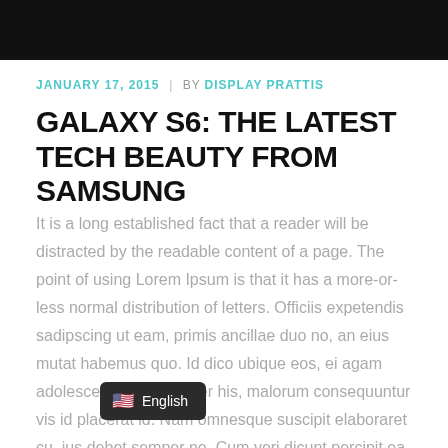[Figure (photo): Dark/black photo bar at the top of the page]
JANUARY 17, 2015  |  BY DISPLAY PRATTIS
GALAXY S6: THE LATEST TECH BEAUTY FROM SAMSUNG
It is a long established fact that a reader will be distracted by the readable content of a page. The point of using Lorem Ipsum is that it has a more-or-less normal distribution of letters. Officiis expetendis sadipscing ut eam, primis ancillae duo no, an eius mutat habemus quo. Id dico ubique eos, ei agam adolescens consectetuer his, malorum consequuntur vis id placerat id. Nam omnesque suscipit elaboraret cu, ius debet semper ne. Cum veri dicunt percipit ea. The point of using Lorem Ipsum is that it has a more-or-less normal dist...